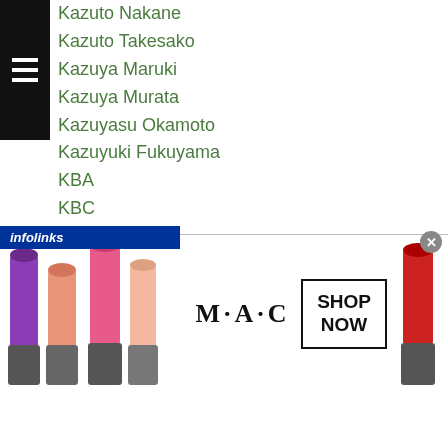Kazuto Nakane
Kazuto Takesako
Kazuya Maruki
Kazuya Murata
Kazuyasu Okamoto
Kazuyuki Fukuyama
KBA
KBC
KBF
KBM
Keiichiro Kanehira
Kei Iwahara
Keisuke Iwasaki
Keisuke Matsumoto
Keisuke Nakayama
Kei Takenaka
[Figure (screenshot): MAC Cosmetics advertisement banner with lipsticks, MAC logo, and SHOP NOW button]